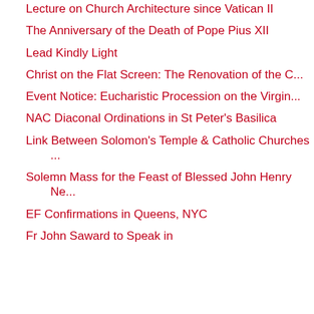Lecture on Church Architecture since Vatican II
The Anniversary of the Death of Pope Pius XII
Lead Kindly Light
Christ on the Flat Screen: The Renovation of the C...
Event Notice: Eucharistic Procession on the Virgin...
NAC Diaconal Ordinations in St Peter's Basilica
Link Between Solomon's Temple & Catholic Churches ...
Solemn Mass for the Feast of Blessed John Henry Ne...
EF Confirmations in Queens, NYC
Fr John Saward to Speak in